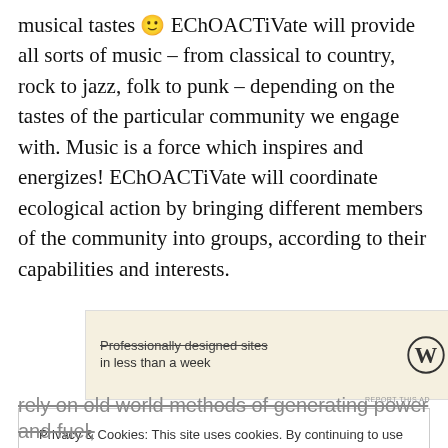musical tastes 🙂 EChOACTiVate will provide all sorts of music – from classical to country, rock to jazz, folk to punk – depending on the tastes of the particular community we engage with. Music is a force which inspires and energizes! EChOACTiVate will coordinate ecological action by bringing different members of the community into groups, according to their capabilities and interests.
[Figure (other): Advertisement banner with WordPress logo and text 'Professionally designed sites in less than a week' with 'REPORT THIS AD' label]
Privacy & Cookies: This site uses cookies. By continuing to use this website, you agree to their use. To find out more, including how to control cookies, see here: Cookie Policy
rely on old world methods of generating power and fuel,